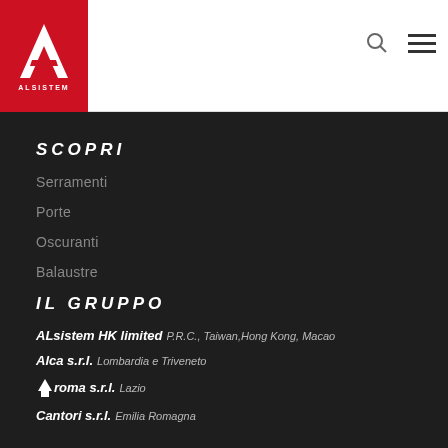[Figure (logo): Alsistem logo — white stylized 'A' shape on red background with 'ALSISTEM' text below]
SCOPRI
Serramenti
Porte
Oscuranti
Balaustre
IL GRUPPO
ALsistem HK limited P.R.C., Taiwan,Hong Kong, Macao
Alca s.r.l. Lombardia e Triveneto
Auroma s.r.l. Lazio
Cantori s.r.l. Emilia Romagna